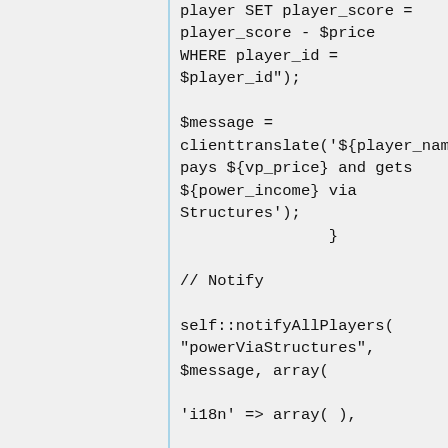player SET player_score =
player_score - $price
WHERE player_id =
$player_id");

$message =
clienttranslate('${player_name} pays ${vp_price} and gets ${power_income} via Structures');
                }

// Notify

self::notifyAllPlayers(
"powerViaStructures",
$message, array(

'i18n' => array( ),

'player_id' => $player_id,

'player_name' =>
self::getUniqueValueFromDb(
"SELECT player_name FROM